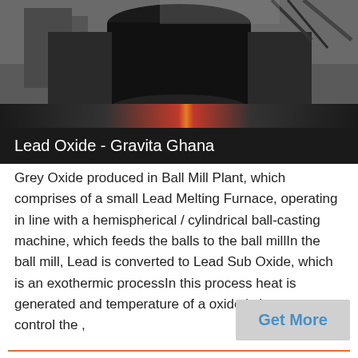[Figure (photo): Industrial machinery — Lead Oxide Ball Mill Plant equipment, dark metallic machinery with cylindrical components and an orange/red band visible at the base]
Lead Oxide - Gravita Ghana
Grey Oxide produced in Ball Mill Plant, which comprises of a small Lead Melting Furnace, operating in line with a hemispherical / cylindrical ball-casting machine, which feeds the balls to the ball millIn the ball mill, Lead is converted to Lead Sub Oxide, which is an exothermic processIn this process heat is generated and temperature of a oxide is increase to control the ,
Get More